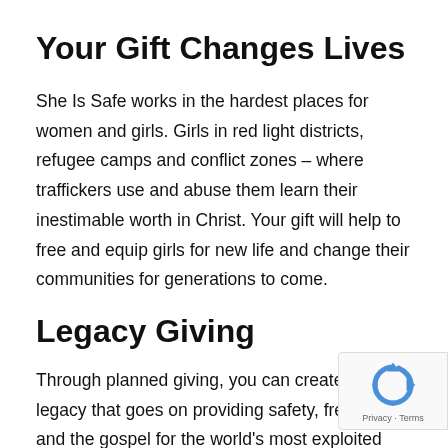Your Gift Changes Lives
She Is Safe works in the hardest places for women and girls. Girls in red light districts, refugee camps and conflict zones – where traffickers use and abuse them learn their inestimable worth in Christ. Your gift will help to free and equip girls for new life and change their communities for generations to come.
Legacy Giving
Through planned giving, you can create a legacy that goes on providing safety, freedom and the gospel for the world's most exploited and unreached girls and wor